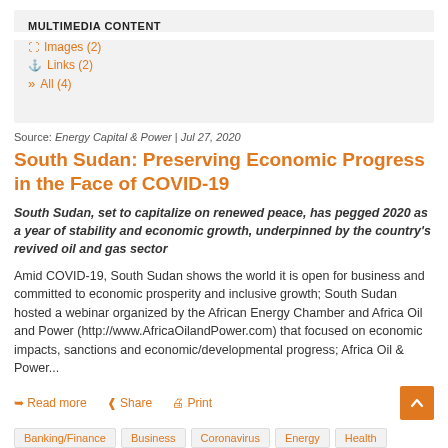MULTIMEDIA CONTENT
Images (2)
Links (2)
All (4)
Source: Energy Capital & Power | Jul 27, 2020
South Sudan: Preserving Economic Progress in the Face of COVID-19
South Sudan, set to capitalize on renewed peace, has pegged 2020 as a year of stability and economic growth, underpinned by the country's revived oil and gas sector
Amid COVID-19, South Sudan shows the world it is open for business and committed to economic prosperity and inclusive growth; South Sudan hosted a webinar organized by the African Energy Chamber and Africa Oil and Power (http://www.AfricaOilandPower.com) that focused on economic impacts, sanctions and economic/developmental progress; Africa Oil & Power...
Read more   Share   Print
Banking/Finance
Business
Coronavirus
Energy
Health